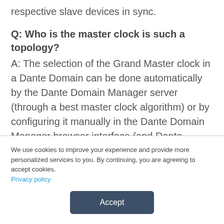respective slave devices in sync.
Q: Who is the master clock is such a topology?
A: The selection of the Grand Master clock in a Dante Domain can be done automatically by the Dante Domain Manager server (through a best master clock algorithm) or by configuring it manually in the Dante Domain Manager browser interface (and Dante Controller if syncing externally and/or using the Preferred Master settings).
We use cookies to improve your experience and provide more personalized services to you. By continuing, you are agreeing to accept cookies. Privacy policy
Accept